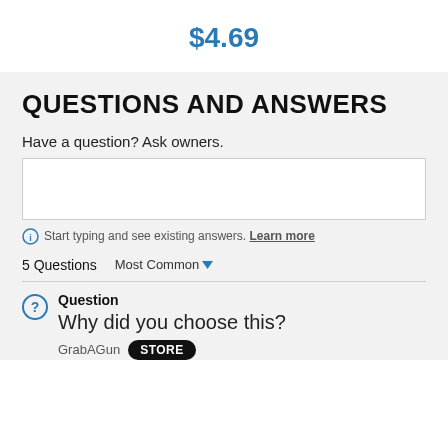$4.69
QUESTIONS AND ANSWERS
Have a question? Ask owners.
Start typing and see existing answers. Learn more
5 Questions   Most Common
Question
Why did you choose this?
GrabAGun  STORE